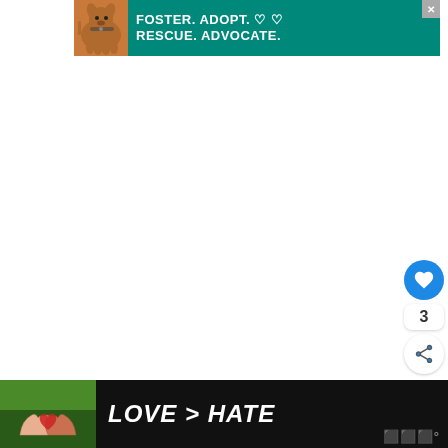[Figure (infographic): Top advertisement banner with teal background showing a dog and text: FOSTER. ADOPT. RESCUE. ADVOCATE. with heart icons]
[Figure (infographic): Floating like button (blue circle with heart icon), count of 3, and share button on the right side]
[Figure (infographic): What's Next card showing a beach thumbnail, arrow, label WHAT'S NEXT, and text 'A luxury stay at the...']
[Figure (infographic): Bottom advertisement banner with dark background showing hands making heart shape and text: LOVE > HATE]